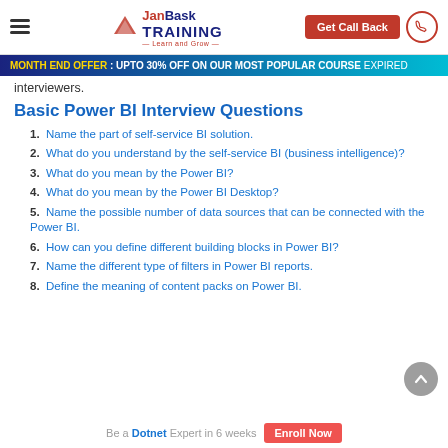JanBask TRAINING — Learn and Grow | Get Call Back
MONTH END OFFER : UPTO 30% OFF ON OUR MOST POPULAR COURSE EXPIRED
interviewers.
Basic Power BI Interview Questions
1. Name the part of self-service BI solution.
2. What do you understand by the self-service BI (business intelligence)?
3. What do you mean by the Power BI?
4. What do you mean by the Power BI Desktop?
5. Name the possible number of data sources that can be connected with the Power BI.
6. How can you define different building blocks in Power BI?
7. Name the different type of filters in Power BI reports.
8. Define the meaning of content packs on Power BI.
Be a Dotnet Expert in 6 weeks   Enroll Now